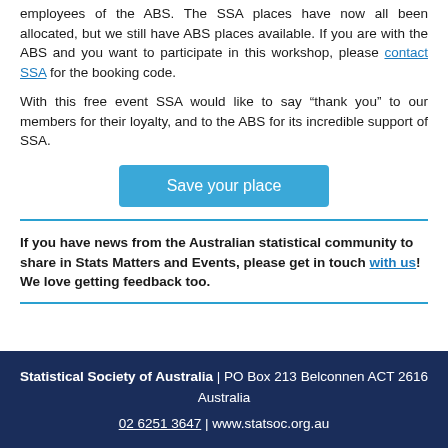employees of the ABS. The SSA places have now all been allocated, but we still have ABS places available. If you are with the ABS and you want to participate in this workshop, please contact SSA for the booking code.
With this free event SSA would like to say “thank you” to our members for their loyalty, and to the ABS for its incredible support of SSA.
[Figure (other): Blue button with white text: Save your place]
If you have news from the Australian statistical community to share in Stats Matters and Events, please get in touch with us! We love getting feedback too.
Statistical Society of Australia | PO Box 213 Belconnen ACT 2616 Australia
02 6251 3647 | www.statsoc.org.au